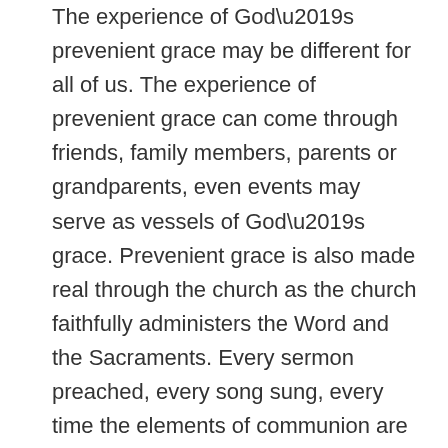The experience of God’s prevenient grace may be different for all of us. The experience of prevenient grace can come through friends, family members, parents or grandparents, even events may serve as vessels of God’s grace. Prevenient grace is also made real through the church as the church faithfully administers the Word and the Sacraments. Every sermon preached, every song sung, every time the elements of communion are received, every time a person is baptized, it is a testimony to the fact that God is seeking a relationship with us. The Holy Spirit is active in and through all these elements to make God real in our lives.
There is a profound reason we Methodists baptize infants. The sacrament of baptism is our acknowledgement, our assent of faith that we believe in prevenient grace. We proclaim that God is at work in